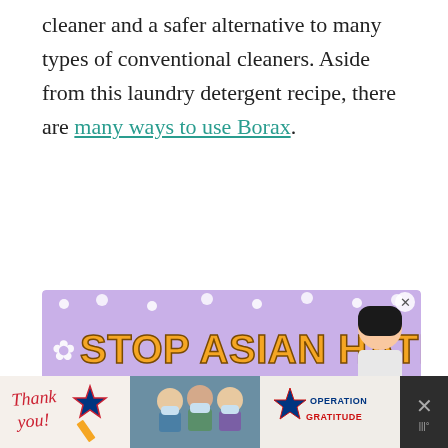cleaner and a safer alternative to many types of conventional cleaners. Aside from this laundry detergent recipe, there are many ways to use Borax.
[Figure (infographic): Advertisement banner with purple floral background reading 'STOP ASIAN HATE' in large orange bold text with an illustrated person figure on the right side. Has a close (x) button in upper right corner.]
[Figure (infographic): Sidebar UI element showing a teal heart/like button with count '21.8K' below it, and a share button below that.]
[Figure (infographic): Bottom banner advertisement showing 'Thank you!' handwritten text with a pencil graphic, photo of people in masks holding boxes, 'Operation Gratitude' logo, and a close X button on dark background.]